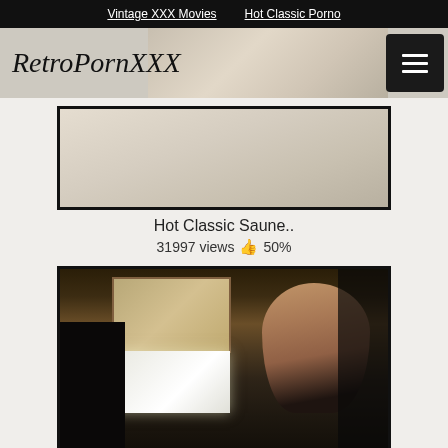Vintage XXX Movies   Hot Classic Porno
RetroPornXXX
[Figure (screenshot): Header banner thumbnail image with muted beige/tan tones]
Hot Classic Saune..
31997 views 👍 50%
[Figure (screenshot): Video thumbnail showing a woman with brown hair in a dark room scene with a lamp and framed picture on wall]
The Adverse Effect..